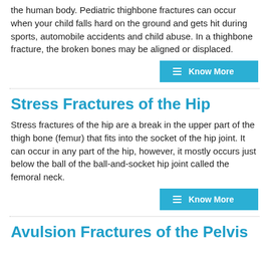the human body. Pediatric thighbone fractures can occur when your child falls hard on the ground and gets hit during sports, automobile accidents and child abuse. In a thighbone fracture, the broken bones may be aligned or displaced.
[Figure (other): Know More button with hamburger menu icon]
Stress Fractures of the Hip
Stress fractures of the hip are a break in the upper part of the thigh bone (femur) that fits into the socket of the hip joint. It can occur in any part of the hip, however, it mostly occurs just below the ball of the ball-and-socket hip joint called the femoral neck.
[Figure (other): Know More button with hamburger menu icon]
Avulsion Fractures of the Pelvis